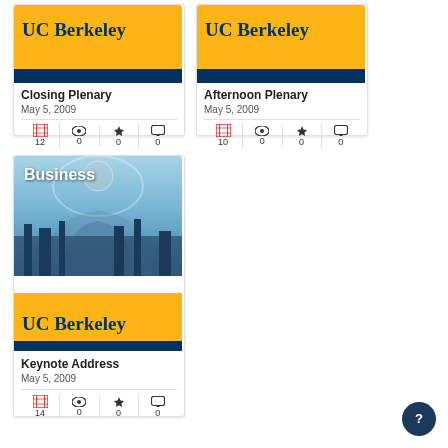[Figure (screenshot): UC Berkeley branded thumbnail with yellow and navy colors for Closing Plenary video card]
Closing Plenary
May 5, 2009
12 views, 0 favorites, 0 comments
[Figure (screenshot): UC Berkeley branded thumbnail with yellow and navy colors for Afternoon Plenary video card]
Afternoon Plenary
May 5, 2009
10 views, 0 favorites, 0 comments
[Figure (photo): Business school building arch photo with UC Berkeley branding overlay for Keynote Address video card]
Keynote Address
May 5, 2009
14 views, 0 favorites, 0 comments